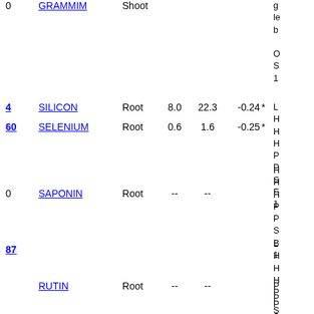| # | Name | Tissue | Val1 | Val2 | Val3 |  |
| --- | --- | --- | --- | --- | --- | --- |
| 0 | GRAMMIM | Shoot |  |  |  |  |
| 4 | SILICON | Root | 8.0 | 22.3 | -0.24 | * |
| 60 | SELENIUM | Root | 0.6 | 1.6 | -0.25 | * |
| 0 | SAPONIN | Root | -- | -- |  |  |
| 87 |  |  |  |  |  |  |
|  | RUTIN | Root | -- | -- |  |  |
g le b C S 1 L H H H P P S E 1 L H H H P P S
g le b O S 1 L H H H P P S B 1 L H H H P P S